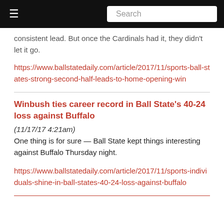☰   Search
consistent lead. But once the Cardinals had it, they didn't let it go.
https://www.ballstatedaily.com/article/2017/11/sports-ball-states-strong-second-half-leads-to-home-opening-win
Winbush ties career record in Ball State's 40-24 loss against Buffalo
(11/17/17 4:21am)
One thing is for sure — Ball State kept things interesting against Buffalo Thursday night.
https://www.ballstatedaily.com/article/2017/11/sports-individuals-shine-in-ball-states-40-24-loss-against-buffalo